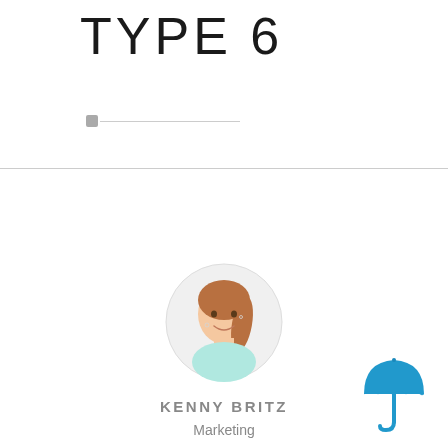TYPE 6
[Figure (illustration): Horizontal slider control with small square grey thumb on the left and a thin grey track extending to the right]
[Figure (photo): Circular cropped photo of a young woman with brown hair in a ponytail, smiling, wearing a light blue top, with a light grey circular border]
KENNY BRITZ
Marketing
[Figure (illustration): Blue umbrella icon in the bottom right corner]